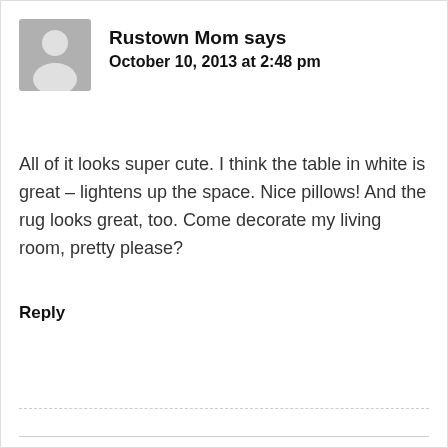[Figure (illustration): Default gray avatar silhouette of a person, square with rounded top corners]
Rustown Mom says
October 10, 2013 at 2:48 pm
All of it looks super cute. I think the table in white is great – lightens up the space. Nice pillows! And the rug looks great, too. Come decorate my living room, pretty please?
Reply